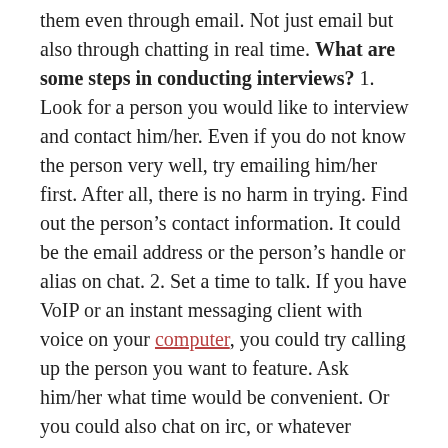them even through email. Not just email but also through chatting in real time. What are some steps in conducting interviews? 1. Look for a person you would like to interview and contact him/her. Even if you do not know the person very well, try emailing him/her first. After all, there is no harm in trying. Find out the person's contact information. It could be the email address or the person's handle or alias on chat. 2. Set a time to talk. If you have VoIP or an instant messaging client with voice on your computer, you could try calling up the person you want to feature. Ask him/her what time would be convenient. Or you could also chat on irc, or whatever protocol you want. This is especially important if you are on different cities across the world. 3. If talking in real time is not possible, settle for email interviews. If you will do the interview via email, try making a follow-up on the person's replies. The dilemma is that he/she might be very busy and could not respond immediately. It is better to remind the person, but try not to overdo it. 4. Draft your article and send a copy to the one